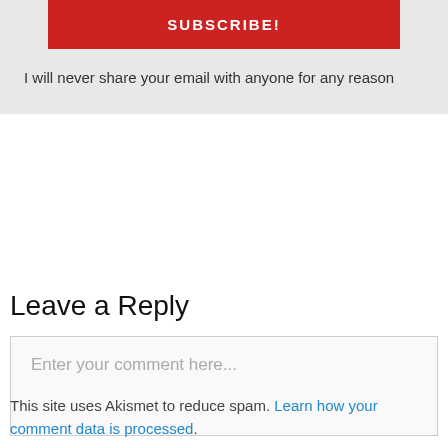SUBSCRIBE!
I will never share your email with anyone for any reason
Leave a Reply
Enter your comment here...
This site uses Akismet to reduce spam. Learn how your comment data is processed.